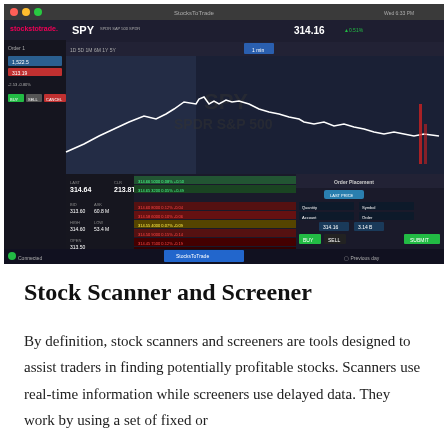[Figure (screenshot): StocksToTrade trading platform screenshot showing SPY stock chart at 314.16 with candlestick/line chart, order entry panel, and trade execution interface on a dark-themed UI]
Stock Scanner and Screener
By definition, stock scanners and screeners are tools designed to assist traders in finding potentially profitable stocks. Scanners use real-time information while screeners use delayed data. They work by using a set of fixed or